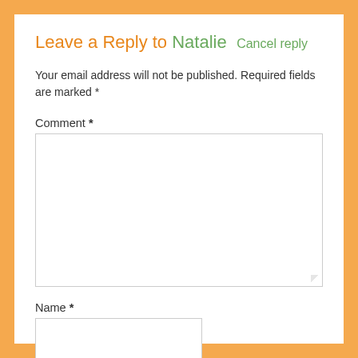Leave a Reply to Natalie Cancel reply
Your email address will not be published. Required fields are marked *
Comment *
Name *
Email *